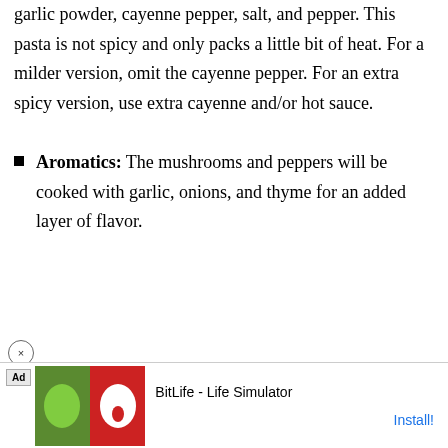garlic powder, cayenne pepper, salt, and pepper. This pasta is not spicy and only packs a little bit of heat. For a milder version, omit the cayenne pepper. For an extra spicy version, use extra cayenne and/or hot sauce.
Aromatics: The mushrooms and peppers will be cooked with garlic, onions, and thyme for an added layer of flavor.
[Figure (screenshot): Advertisement showing Volvo XC40 Recharge Pure Electric car with color selector options, overlaid on black background panels, with a teal sidebar containing a play button.]
[Figure (screenshot): Banner ad for BitLife - Life Simulator app with green and red icons, Ad badge, and Install button in blue.]